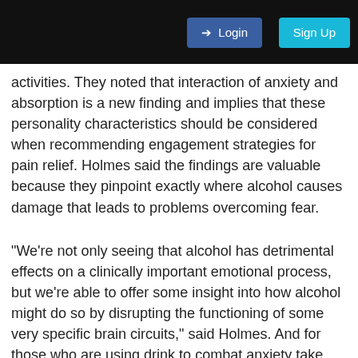Login  Sign Up
activities. They noted that interaction of anxiety and absorption is a new finding and implies that these personality characteristics should be considered when recommending engagement strategies for pain relief. Holmes said the findings are valuable because they pinpoint exactly where alcohol causes damage that leads to problems overcoming fear.
"We're not only seeing that alcohol has detrimental effects on a clinically important emotional process, but we're able to offer some insight into how alcohol might do so by disrupting the functioning of some very specific brain circuits," said Holmes. And for those who are using drink to combat anxiety take heed: Understanding the relationship between alcohol and anxiety at the molecular level could offer new possibilities for developing drugs to help patients with anxiety disorders who also have a history of heavy alcohol use. "This study is exciting because it gives us a specific molecule to look at in a specific brain region, thus opening the door to discovering new methods to treat these disorders," said Kash.